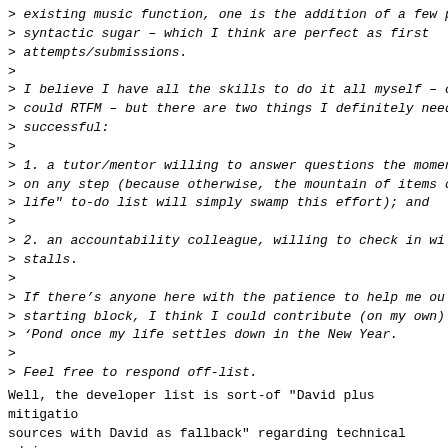> existing music function, one is the addition of a few p
> syntactic sugar – which I think are perfect as first
> attempts/submissions.
>
> I believe I have all the skills to do it all myself – c
> could RTFM – but there are two things I definitely need
> successful:
>
> 1. a tutor/mentor willing to answer questions the momen
> on any step (because otherwise, the mountain of items o
> life" to-do list will simply swamp this effort); and
>
> 2. an accountability colleague, willing to check in wi
> stalls.
>
> If there's anyone here with the patience to help me ou
> starting block, I think I could contribute (on my own)
> 'Pond once my life settles down in the New Year.
>
> Feel free to respond off-list.
Well, the developer list is sort-of "David plus mitigatio
sources with David as fallback" regarding technical advic
in relation to Git and our operating procedures.  Which I
"just David".  So the developer list as a whole seems ce
somewhat viable solution to your problem.
--
David Kastrup